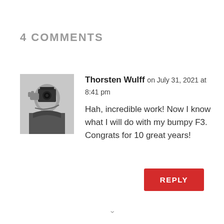4 COMMENTS
[Figure (photo): Black and white photo of a man holding a camera up to his face]
Thorsten Wulff on July 31, 2021 at 8:41 pm
Hah, incredible work! Now I know what I will do with my bumpy F3. Congrats for 10 great years!
REPLY